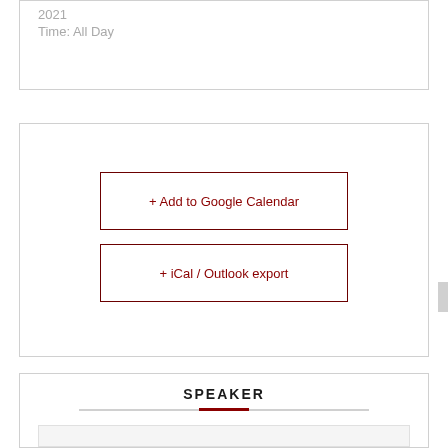2021
Time: All Day
+ Add to Google Calendar
+ iCal / Outlook export
SPEAKER